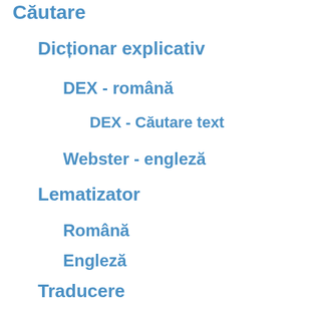Căutare
Dicționar explicativ
DEX - română
DEX - Căutare text
Webster - engleză
Lematizator
Română
Engleză
Flexionare
Română
Engleză
Traducere